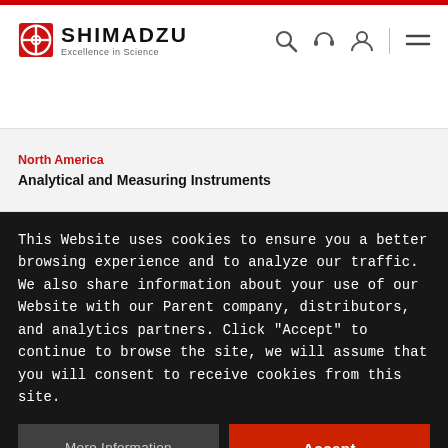SHIMADZU Excellence in Science
North America
Analytical and Measuring Instruments
This Website uses cookies to ensure you a better browsing experience and to analyze our traffic. We also share information about your use of our Website with our Parent company, distributors, and analytics partners. Click "Accept" to continue to browse the site, we will assume that you will consent to receive cookies from this site.
More Information
Accept